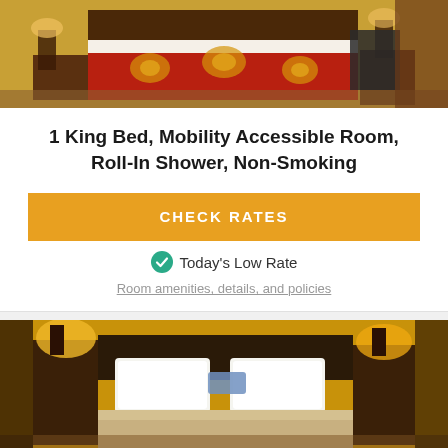[Figure (photo): Hotel room photo showing a king bed with red and gold floral bedspread, nightstands with lamps]
1 King Bed, Mobility Accessible Room, Roll-In Shower, Non-Smoking
CHECK RATES
Today's Low Rate
Room amenities, details, and policies
[Figure (photo): Hotel room photo showing a king bed with white pillows and gold bedspread, nightstands with warm lamps]